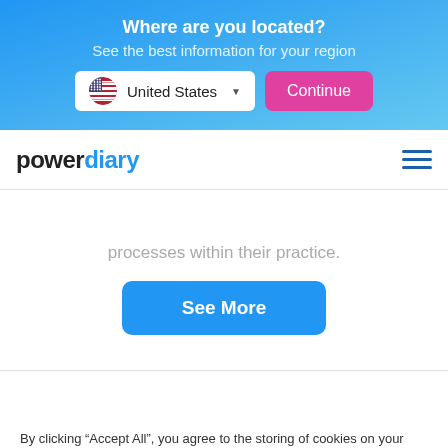Where are you located?
See the best information for your region
[Figure (screenshot): Country selector dropdown showing United States with flag icon and a pink Continue button]
[Figure (logo): Power Diary logo with hamburger menu icon]
processes within their practice.
[Figure (screenshot): Blue See More button]
By clicking “Accept All”, you agree to the storing of cookies on your device to enhance site navigation, analyze site usage, and assist in our marketing efforts.
[Figure (screenshot): Accept All button (dark blue)]
[Figure (screenshot): Cookie Settings button (outlined)]